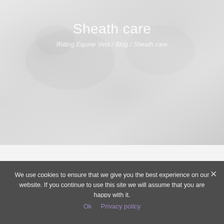[Figure (photo): Hero banner image with light gray textured background, appears to be a close-up of a horse or animal, very faint and washed out]
Sheath care
Riding Equine Vets / Blog / Sheath care
We use cookies to ensure that we give you the best experience on our website. If you continue to use this site we will assume that you are happy with it.
Ok   Privacy policy